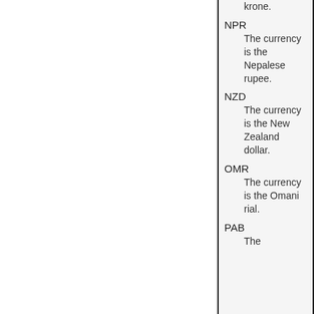krone.
NPR
    The currency is the Nepalese rupee.
NZD
    The currency is the New Zealand dollar.
OMR
    The currency is the Omani rial.
PAB
    The